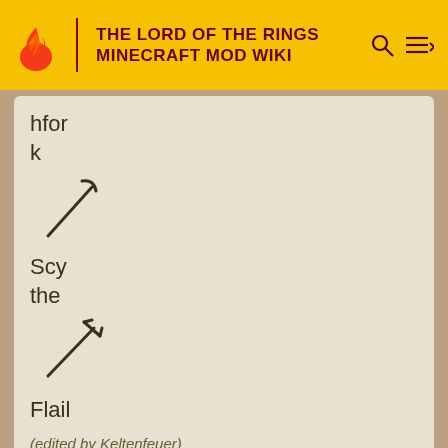THE LORD OF THE RINGS MINECRAFT MOD WIKI
hfork
[Figure (illustration): Pitchfork / hfork weapon icon - diagonal line with curved top]
Scythe
[Figure (illustration): Scythe weapon icon - diagonal line with arrow pointing upper right]
Flail
(edited by Keltenfeuer)
♡ 8   ♡ 2
A reply to Keltenfeuer